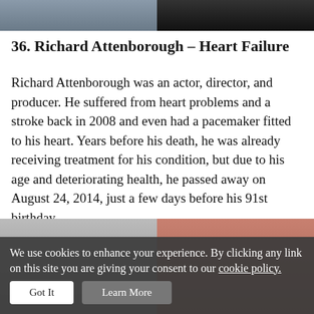[Figure (photo): Two cropped photos side by side at the top of the page — left appears to be a person in light clothing, right is a dark figure]
36. Richard Attenborough – Heart Failure
Richard Attenborough was an actor, director, and producer. He suffered from heart problems and a stroke back in 2008 and even had a pacemaker fitted to his heart. Years before his death, he was already receiving treatment for his condition, but due to his age and deteriorating health, he passed away on August 24, 2014, just a few days before his 91st birthday.
[Figure (photo): Two cropped photos side by side at the bottom — left is a black and white portrait, right shows a person with short hair]
We use cookies to enhance your experience. By clicking any link on this site you are giving your consent to our cookie policy.